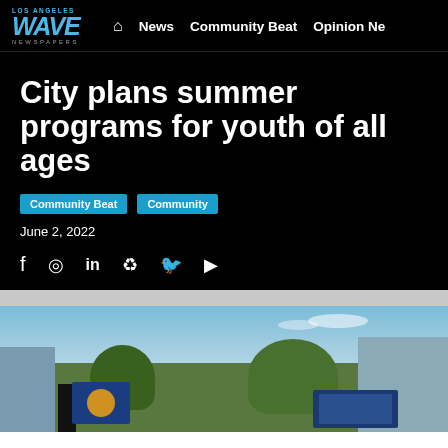Los Angeles WAVE NEWSPAPERS | News | Community Beat | Opinion Ne
City plans summer programs for youth of all ages
Community Beat  Community
June 2, 2022
[Figure (photo): Outdoor photo showing a building exterior with trees, blue sky with clouds, a person standing near a blue banner/sign, and another institutional banner on the right side.]